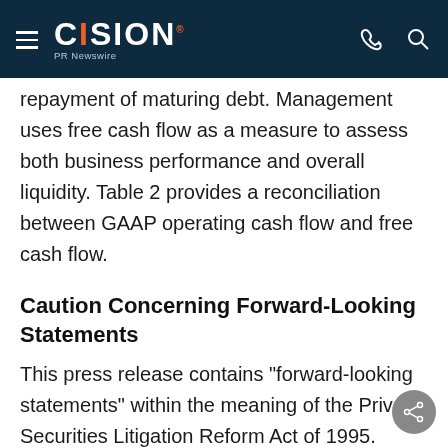CISION PR Newswire
repayment of maturing debt. Management uses free cash flow as a measure to assess both business performance and overall liquidity. Table 2 provides a reconciliation between GAAP operating cash flow and free cash flow.
Caution Concerning Forward-Looking Statements
This press release contains "forward-looking statements" within the meaning of the Private Securities Litigation Reform Act of 1995. Words such as "may," "should," "expects," "intends," "projects," "plans," "believes," "estimates," "targets," "anticipate" and similar expressions are used to identify these